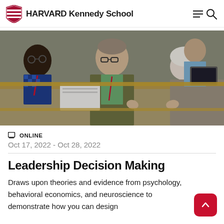HARVARD Kennedy School
[Figure (photo): People seated in a classroom/lecture hall setting. A middle-aged man with glasses and a blazer is speaking and gesturing with his hands. A Black man in a checkered shirt with a red lanyard looks on to the left, and a woman with white hair is on the right.]
ONLINE
Oct 17, 2022 - Oct 28, 2022
Leadership Decision Making
Draws upon theories and evidence from psychology, behavioral economics, and neuroscience to demonstrate how you can design